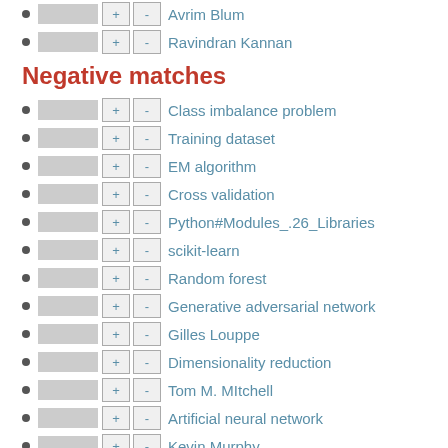Avrim Blum
Ravindran Kannan
Negative matches
Class imbalance problem
Training dataset
EM algorithm
Cross validation
Python#Modules_.26_Libraries
scikit-learn
Random forest
Generative adversarial network
Gilles Louppe
Dimensionality reduction
Tom M. MItchell
Artificial neural network
Kevin Murphy